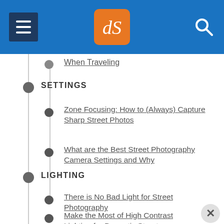[Figure (logo): dPS website header with hamburger menu, orange dPS logo, and search icon on blue background]
When Traveling
SETTINGS
Zone Focusing: How to (Always) Capture Sharp Street Photos
What are the Best Street Photography Camera Settings and Why
LIGHTING
There is No Bad Light for Street Photography
Make the Most of High Contrast Lighting for Dramatic Street Photos